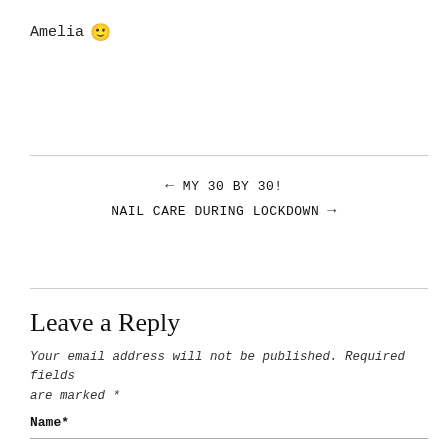Amelia 🙂
← MY 30 BY 30!
NAIL CARE DURING LOCKDOWN →
Leave a Reply
Your email address will not be published. Required fields are marked *
Name*